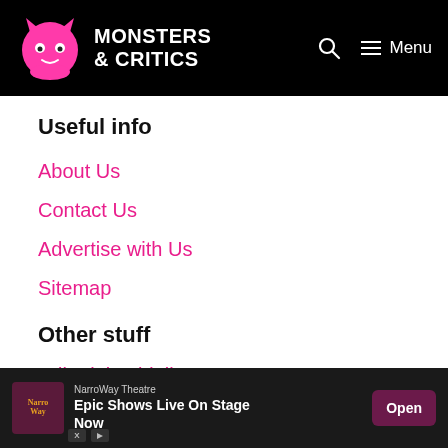Monsters & Critics — Menu
Useful info
About Us
Contact Us
Advertise with Us
Sitemap
Other stuff
Editorial guidelines
Fact-checking policy
NarroWay Theatre — Epic Shows Live On Stage Now — Open